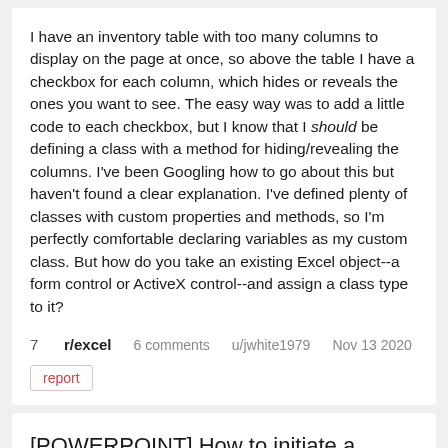I have an inventory table with too many columns to display on the page at once, so above the table I have a checkbox for each column, which hides or reveals the ones you want to see. The easy way was to add a little code to each checkbox, but I know that I should be defining a class with a method for hiding/revealing the columns. I've been Googling how to go about this but haven't found a clear explanation. I've defined plenty of classes with custom properties and methods, so I'm perfectly comfortable declaring variables as my custom class. But how do you take an existing Excel object--a form control or ActiveX control--and assign a class type to it?
7  r/excel  6 comments  u/jwhite1979  Nov 13 2020
report
[POWERPOINT] How to initiate a macro via